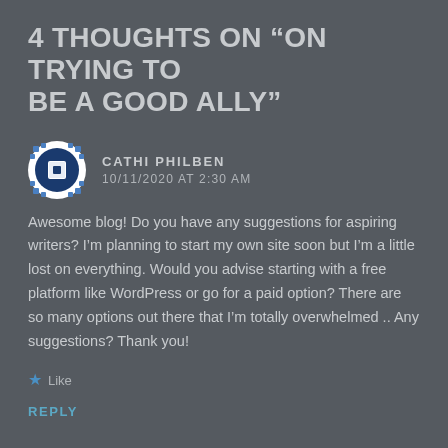4 THOUGHTS ON “ON TRYING TO BE A GOOD ALLY”
CATHI PHILBEN
10/11/2020 AT 2:30 AM
Awesome blog! Do you have any suggestions for aspiring writers? I’m planning to start my own site soon but I’m a little lost on everything. Would you advise starting with a free platform like WordPress or go for a paid option? There are so many options out there that I’m totally overwhelmed .. Any suggestions? Thank you!
★ Like
REPLY